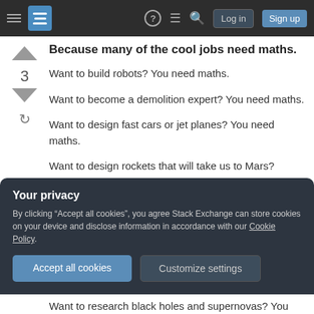Stack Exchange navigation bar with hamburger menu, logo, help icon, feed icon, search icon, Log in button, Sign up button
Because many of the cool jobs need maths.
Want to build robots? You need maths.
Want to become a demolition expert? You need maths.
Want to design fast cars or jet planes? You need maths.
Want to design rockets that will take us to Mars?
Your privacy
By clicking "Accept all cookies", you agree Stack Exchange can store cookies on your device and disclose information in accordance with our Cookie Policy.
Accept all cookies   Customize settings
Want to research black holes and supernovas? You